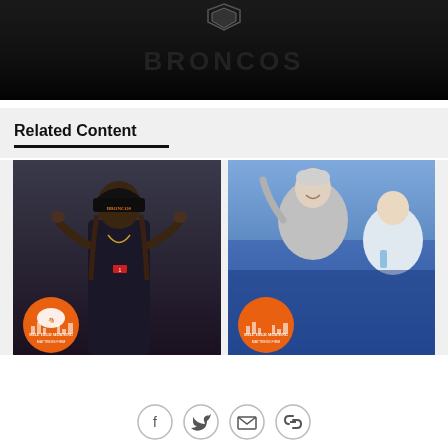[Figure (photo): Dark background image with a shield/logo icon visible at top center, appears to be a video or promotional graphic]
Related Content
[Figure (photo): Person wearing a black Broncos cap and black hoodie with long hair, Mile High Morning MattressFirm logo overlay in bottom left]
[Figure (photo): Two people at what appears to be a sporting event, smiling, Mile High Morning MattressFirm logo overlay in bottom left]
[Figure (infographic): Social sharing icons row: Facebook, Twitter, Email, Link/Copy]